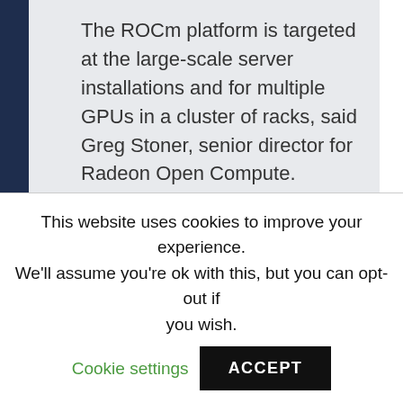The ROCm platform is targeted at the large-scale server installations and for multiple GPUs in a cluster of racks, said Greg Stoner, senior director for Radeon Open Compute.
It'll work with AMD's latest Radeon Pro GPUs and current consumer GPUs based on the Polaris architecture. It can be used to run neural networking clusters or for scientific computing.
But there's a chicken-and-egg problem. Scientists use Nvidia's CUDA because the company's GPUs
This website uses cookies to improve your experience. We'll assume you're ok with this, but you can opt-out if you wish. Cookie settings ACCEPT